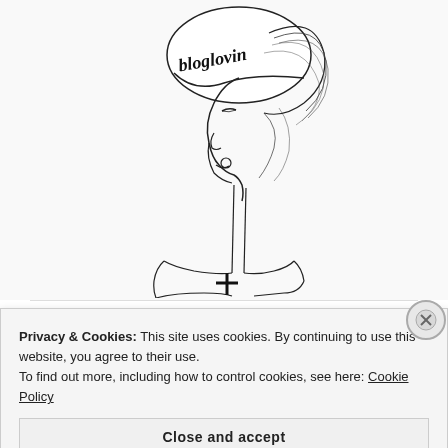[Figure (illustration): Line art illustration of a stylized fashion figure (woman) with an upswept hairstyle and a hat/cap that reads 'bloglovin' in script lettering. The figure faces left in profile, with a long neck and a cross symbol on the chest area. The style is minimalist black and white sketch.]
PINTEREST
Privacy & Cookies: This site uses cookies. By continuing to use this website, you agree to their use.
To find out more, including how to control cookies, see here: Cookie Policy
Close and accept